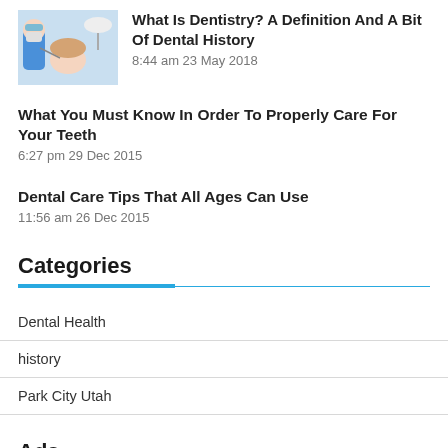[Figure (photo): Thumbnail photo of a dentist working on a patient]
What Is Dentistry? A Definition And A Bit Of Dental History
8:44 am 23 May 2018
What You Must Know In Order To Properly Care For Your Teeth
6:27 pm 29 Dec 2015
Dental Care Tips That All Ages Can Use
11:56 am 26 Dec 2015
Categories
Dental Health
history
Park City Utah
Ads